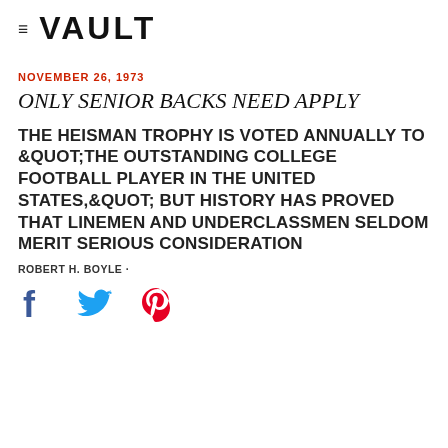≡ VAULT
NOVEMBER 26, 1973
ONLY SENIOR BACKS NEED APPLY
THE HEISMAN TROPHY IS VOTED ANNUALLY TO &QUOT;THE OUTSTANDING COLLEGE FOOTBALL PLAYER IN THE UNITED STATES,&QUOT; BUT HISTORY HAS PROVED THAT LINEMEN AND UNDERCLASSMEN SELDOM MERIT SERIOUS CONSIDERATION
ROBERT H. BOYLE ·
[Figure (other): Social share icons: Facebook, Twitter, Pinterest]